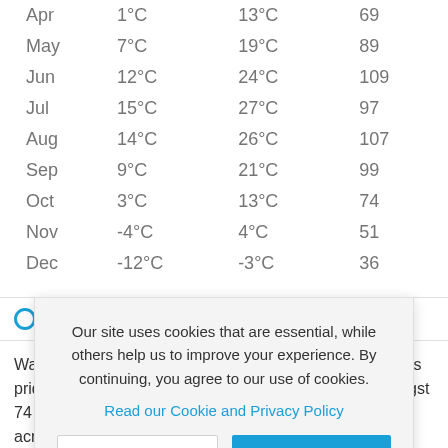| Apr | 1°C | 13°C | 69 |
| May | 7°C | 19°C | 89 |
| Jun | 12°C | 24°C | 109 |
| Jul | 15°C | 27°C | 97 |
| Aug | 14°C | 26°C | 107 |
| Sep | 9°C | 21°C | 99 |
| Oct | 3°C | 13°C | 74 |
| Nov | -4°C | 4°C | 51 |
| Dec | -12°C | -3°C | 36 |
Overview
Our site uses cookies that are essential, while others help us to improve your experience. By continuing, you agree to our use of cookies.
Read our Cookie and Privacy Policy
Dismiss
Got it!
Wausau can e... state of Wisco... Area in its arse... takes pride in being the best winter destination. Explore amongst 74 trails and unleash your adventurous spirit across 400 acres of velvet snow!